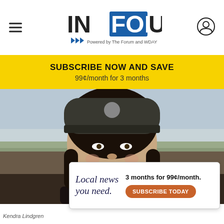INFORUM — Powered by The Forum and WDAY
[Figure (infographic): Yellow subscription banner: SUBSCRIBE NOW AND SAVE — 99¢/month for 3 months]
[Figure (photo): Portrait photo of a young woman wearing a dark beanie hat and dark jacket, outdoors with a plains landscape and cloudy sky in the background. She has long dark hair and is smiling slightly toward the camera.]
[Figure (infographic): Inline advertisement overlay: 'Local news you need.' on left, '3 months for 99¢/month.' and orange SUBSCRIBE TODAY button on right]
Kendra Lindgren